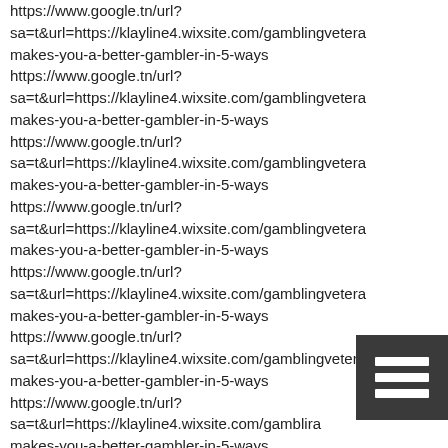https://www.google.tn/url? sa=t&url=https://klayline4.wixsite.com/gamblingveteran makes-you-a-better-gambler-in-5-ways https://www.google.tn/url? sa=t&url=https://klayline4.wixsite.com/gamblingveteran makes-you-a-better-gambler-in-5-ways https://www.google.tn/url? sa=t&url=https://klayline4.wixsite.com/gamblingveteran makes-you-a-better-gambler-in-5-ways https://www.google.tn/url? sa=t&url=https://klayline4.wixsite.com/gamblingveteran makes-you-a-better-gambler-in-5-ways https://www.google.tn/url? sa=t&url=https://klayline4.wixsite.com/gamblingveteran makes-you-a-better-gambler-in-5-ways https://www.google.tn/url? sa=t&url=https://klayline4.wixsite.com/gamblingveteran makes-you-a-better-gambler-in-5-ways https://www.google.tn/url? sa=t&url=https://klayline4.wixsite.com/gambli...ran makes-you-a-better-gambler-in-5-ways
[Figure (other): Hamburger menu icon (three horizontal white bars on dark background)]